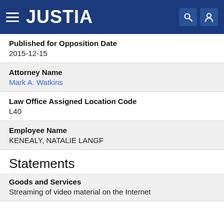JUSTIA
Published for Opposition Date
2015-12-15
Attorney Name
Mark A. Watkins
Law Office Assigned Location Code
L40
Employee Name
KENEALY, NATALIE LANGF
Statements
Goods and Services
Streaming of video material on the Internet